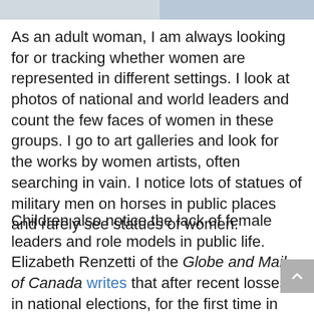[Figure (photo): Partial image visible at top of page, cropped strip showing a photograph with blue/grey tones.]
As an adult woman, I am always looking for or tracking whether women are represented in different settings. I look at photos of national and world leaders and count the few faces of women in these groups. I go to art galleries and look for the works by women artists, often searching in vain. I notice lots of statues of military men on horses in public places and rarely see statues of women.
Children also notice the lack of female leaders and role models in public life. Elizabeth Renzetti of the Globe and Mail of Canada writes that after recent losses in national elections, for the first time in many years, Canada currently has no female premiers for any of its provinces. Renzetti